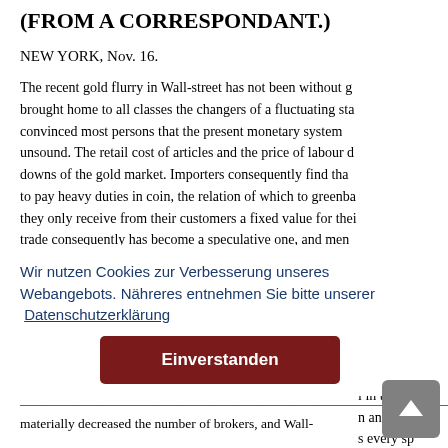(FROM A CORRESPONDANT.)
NEW YORK, Nov. 16.
The recent gold flurry in Wall-street has not been without g... brought home to all classes the changers of a fluctuating sta... convinced most persons that the present monetary system... unsound. The retail cost of articles and the price of labour d... downs of the gold market. Importers consequently find tha... to pay heavy duties in coin, the relation of which to greenba... they only receive from their customers a fixed value for thei... trade consequently has become a speculative one, and men...
Wir nutzen Cookies zur Verbesserung unseres Webangebots. Nähreres entnehmen Sie bitte unserer Datenschutzerklärung
Einverstanden
as discov... Mark-lane... home cu... l in the p... n an irre... s every sp... s c... l c...
materially decreased the number of brokers, and Wall-...